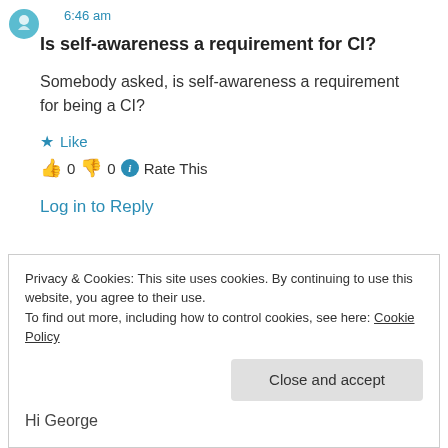6:46 am
Is self-awareness a requirement for CI?
Somebody asked, is self-awareness a requirement for being a CI?
★ Like
👍 0 👎 0 ℹ Rate This
Log in to Reply
Privacy & Cookies: This site uses cookies. By continuing to use this website, you agree to their use.
To find out more, including how to control cookies, see here: Cookie Policy
Close and accept
Hi George